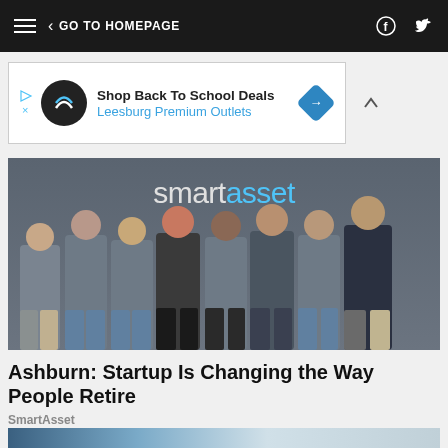≡  < GO TO HOMEPAGE  [Facebook] [Twitter]
[Figure (infographic): Advertisement banner: Shop Back To School Deals — Leesburg Premium Outlets, with circular logo and diamond navigation icon]
[Figure (photo): Group photo of SmartAsset team members standing in front of a wall with the SmartAsset logo. White and teal letters read 'smartasset'. Eight people in SmartAsset branded t-shirts plus one in a branded hoodie and one in a dark branded shirt.]
Ashburn: Startup Is Changing the Way People Retire
SmartAsset
[Figure (photo): Partial view of a second image, showing a blurred interior scene with circular light fixtures.]